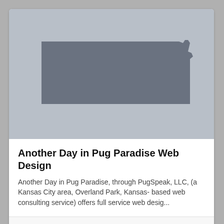[Figure (map): Gray silhouette of the state of Kansas on a light gray background]
Another Day in Pug Paradise Web Design
Another Day in Pug Paradise, through PugSpeak, LLC, (a Kansas City area, Overland Park, Kansas- based web consulting service) offers full service web desig...
OVERLAND PARK, KS
+3